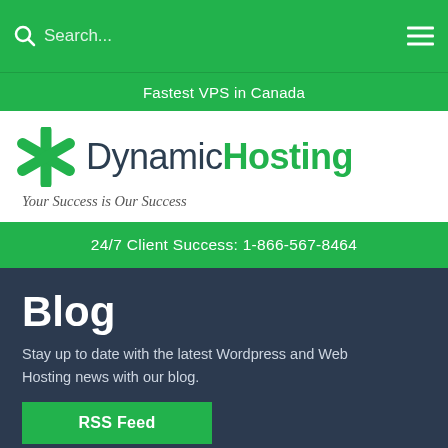Search...
Fastest VPS in Canada
[Figure (logo): DynamicHosting logo with green asterisk star icon, text 'DynamicHosting' where 'Dynamic' is dark grey and 'Hosting' is green, tagline 'Your Success is Our Success' in italic]
24/7 Client Success: 1-866-567-8464
Blog
Stay up to date with the latest Wordpress and Web Hosting news with our blog.
RSS Feed